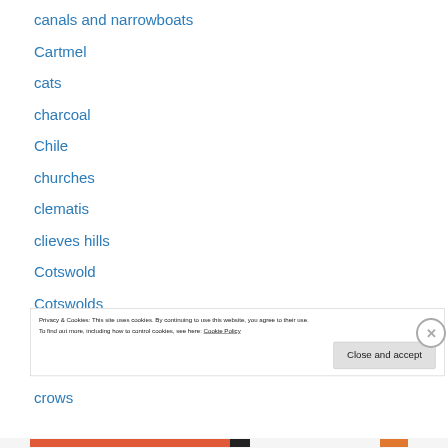canals and narrowboats
Cartmel
cats
charcoal
Chile
churches
clematis
clieves hills
Cotswold
Cotswolds
country cottages
crocuses
crows
Privacy & Cookies: This site uses cookies. By continuing to use this website, you agree to their use.
To find out more, including how to control cookies, see here: Cookie Policy
Close and accept